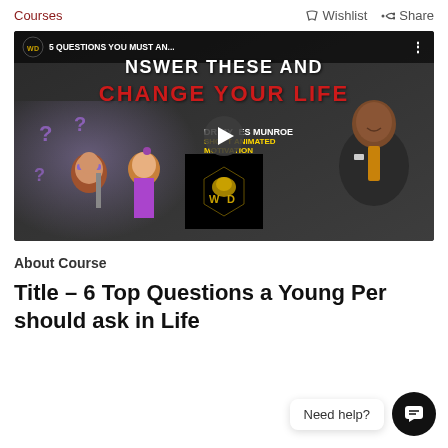Courses   Wishlist   Share
[Figure (screenshot): YouTube video thumbnail showing animated characters with question marks and Dr. Myles Munroe. Title text: 'ANSWER THESE AND CHANGE YOUR LIFE' and '5 QUESTIONS YOU MUST AN...' with WD logo and play button.]
About Course
Title – 6 Top Questions a Young Person should ask in Life